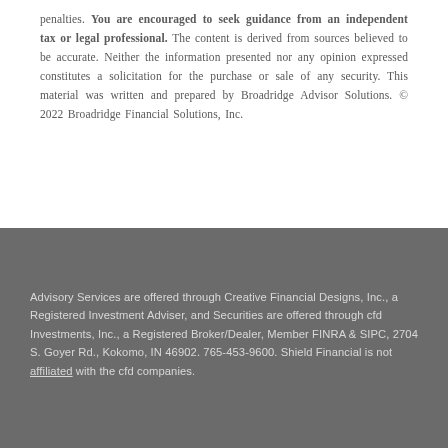penalties. You are encouraged to seek guidance from an independent tax or legal professional. The content is derived from sources believed to be accurate. Neither the information presented nor any opinion expressed constitutes a solicitation for the purchase or sale of any security. This material was written and prepared by Broadridge Advisor Solutions. © 2022 Broadridge Financial Solutions, Inc.
Advisory Services are offered through Creative Financial Designs, Inc., a Registered Investment Adviser, and Securities are offered through cfd Investments, Inc., a Registered Broker/Dealer, Member FINRA & SIPC, 2704 S. Goyer Rd., Kokomo, IN 46902. 765-453-9600. Shield Financial is not affiliated with the cfd companies.